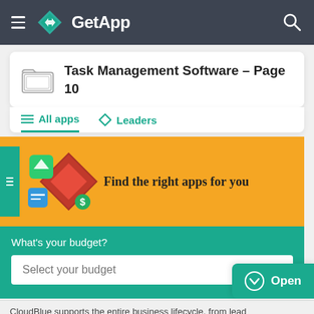GetApp
Task Management Software - Page 10
All apps  Leaders
Find the right apps for you
What's your budget?
Select your budget
Open
CloudBlue supports the entire business lifecycle, from lead